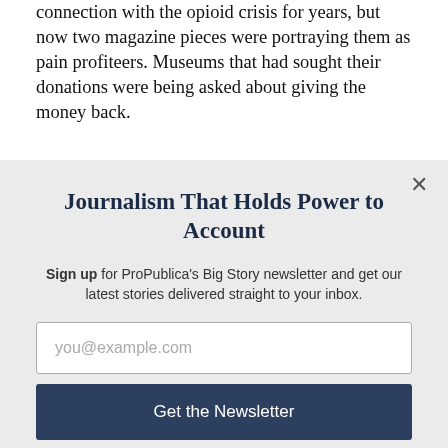connection with the opioid crisis for years, but now two magazine pieces were portraying them as pain profiteers. Museums that had sought their donations were being asked about giving the money back.
Journalism That Holds Power to Account
Sign up for ProPublica's Big Story newsletter and get our latest stories delivered straight to your inbox.
you@example.com
Get the Newsletter
No thanks, I'm all set
This site is protected by reCAPTCHA and the Google Privacy Policy and Terms of Service apply.